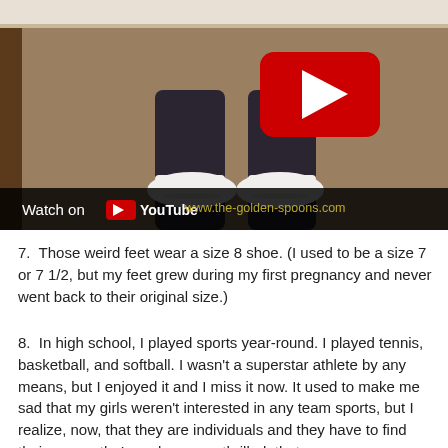[Figure (screenshot): YouTube video thumbnail showing a person's feet/lower legs in white ballet flats and dark leggings on a carpeted floor near a baseboard. A red YouTube play button overlay is visible in the upper right of the video. At the bottom of the video frame is a dark bar reading 'Watch on YouTube' with the YouTube logo, and a watermark text 'www.the-golden-spoons.com' in gold.]
7.  Those weird feet wear a size 8 shoe. (I used to be a size 7 or 7 1/2, but my feet grew during my first pregnancy and never went back to their original size.)
8.  In high school, I played sports year-round. I played tennis, basketball, and softball. I wasn't a superstar athlete by any means, but I enjoyed it and I miss it now. It used to make me sad that my girls weren't interested in any team sports, but I realize, now, that they are individuals and they have to find their own path. I am, however, thrilled, that my